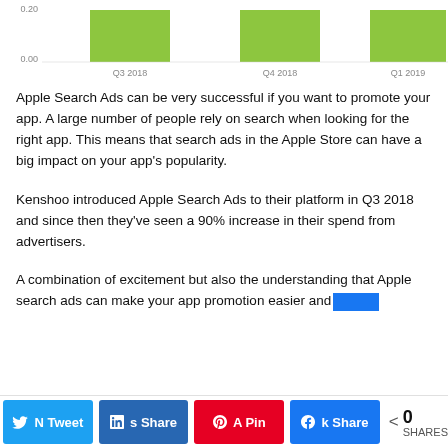[Figure (bar-chart): Quarterly spend chart (partial)]
Apple Search Ads can be very successful if you want to promote your app. A large number of people rely on search when looking for the right app. This means that search ads in the Apple Store can have a big impact on your app's popularity.
Kenshoo introduced Apple Search Ads to their platform in Q3 2018 and since then they've seen a 90% increase in their spend from advertisers.
A combination of excitement but also the understanding that Apple search ads can make your app promotion easier and
0 SHARES